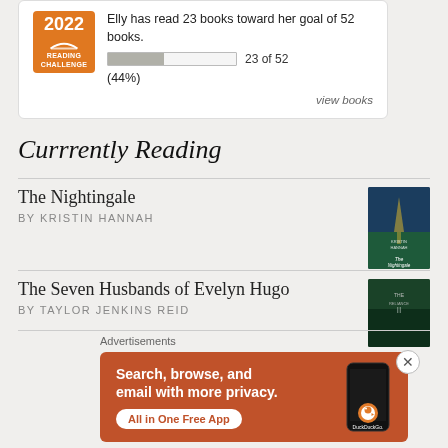[Figure (infographic): 2022 Reading Challenge badge with orange background showing year 2022 and book icon with text READING CHALLENGE]
Elly has read 23 books toward her goal of 52 books.
23 of 52 (44%)
view books
Currrently Reading
The Nightingale
BY KRISTIN HANNAH
[Figure (illustration): Book cover of The Nightingale by Kristin Hannah, dark blue and green tones with Eiffel Tower]
The Seven Husbands of Evelyn Hugo
BY TAYLOR JENKINS REID
[Figure (illustration): Book cover of The Seven Husbands of Evelyn Hugo, dark green tones]
Advertisements
[Figure (infographic): DuckDuckGo advertisement: Search, browse, and email with more privacy. All in One Free App. Orange background with phone illustration and DuckDuckGo logo.]